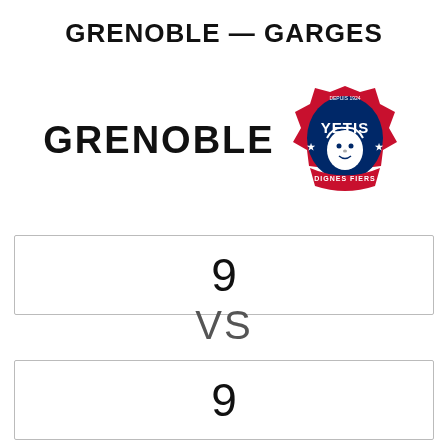GRENOBLE — GARGES
[Figure (logo): Grenoble Yetis basketball team logo — a yeti face in blue and red shield with maple-leaf style points, text 'YETIS', 'DIGNES', 'FIERS']
GRENOBLE
| 9 |
VS
| 9 |